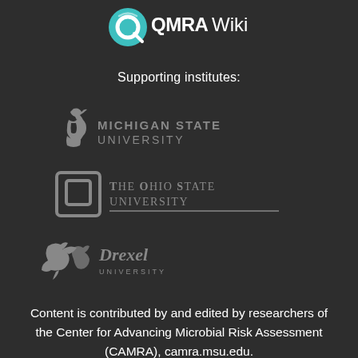[Figure (logo): QMRAWiki logo: teal circular Q icon with white text QMRAWiki]
Supporting institutes:
[Figure (logo): Michigan State University logo: Spartan helmet icon with text MICHIGAN STATE UNIVERSITY]
[Figure (logo): The Ohio State University logo: Block O icon with text THE OHIO STATE UNIVERSITY]
[Figure (logo): Drexel University logo: dragon icon with Drexel University text]
Content is contributed by and edited by researchers of the Center for Advancing Microbial Risk Assessment (CAMRA), camra.msu.edu.